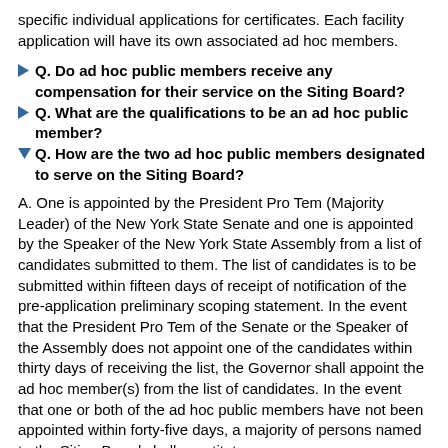specific individual applications for certificates. Each facility application will have its own associated ad hoc members.
Q. Do ad hoc public members receive any compensation for their service on the Siting Board?
Q. What are the qualifications to be an ad hoc public member?
Q. How are the two ad hoc public members designated to serve on the Siting Board?
A. One is appointed by the President Pro Tem (Majority Leader) of the New York State Senate and one is appointed by the Speaker of the New York State Assembly from a list of candidates submitted to them. The list of candidates is to be submitted within fifteen days of receipt of notification of the pre-application preliminary scoping statement. In the event that the President Pro Tem of the Senate or the Speaker of the Assembly does not appoint one of the candidates within thirty days of receiving the list, the Governor shall appoint the ad hoc member(s) from the list of candidates. In the event that one or both of the ad hoc public members have not been appointed within forty-five days, a majority of persons named to the Siting Board shall constitute a quorum.
Q. How is the list of ad hoc public member candidates established?